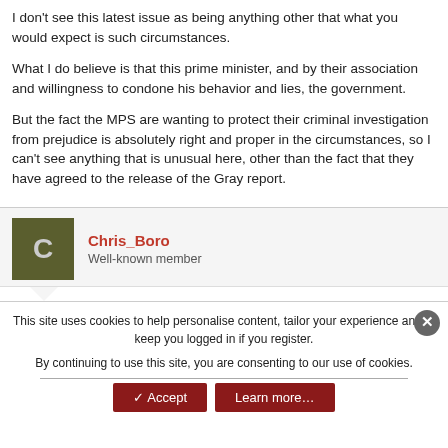I don't see this latest issue as being anything other that what you would expect is such circumstances.
What I do believe is that this prime minister, and by their association and willingness to condone his behavior and lies, the government.
But the fact the MPS are wanting to protect their criminal investigation from prejudice is absolutely right and proper in the circumstances, so I can't see anything that is unusual here, other than the fact that they have agreed to the release of the Gray report.
Chris_Boro
Well-known member
This site uses cookies to help personalise content, tailor your experience and to keep you logged in if you register.
By continuing to use this site, you are consenting to our use of cookies.